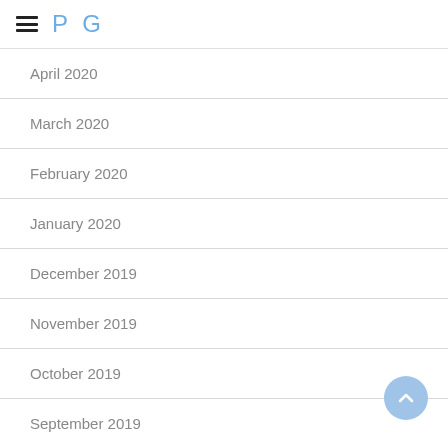PG
April 2020
March 2020
February 2020
January 2020
December 2019
November 2019
October 2019
September 2019
August 2019